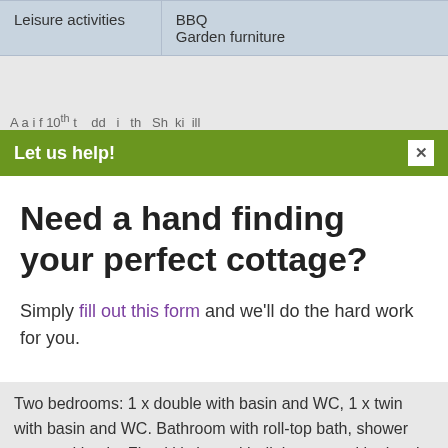| Local facilities | Pub nearby |
| --- | --- |
| Leisure activities | BBQ
Garden furniture |
A a i f 10th t dd i th Sh ki ill
Let us help!
Need a hand finding your perfect cottage?
Simply fill out this form and we'll do the hard work for you.
Two bedrooms: 1 x double with basin and WC, 1 x twin with basin and WC. Bathroom with roll-top bath, shower over and basin. Fitted kitchen with dining area with electric fire. Sitting room with electric woodburner-effect fire.